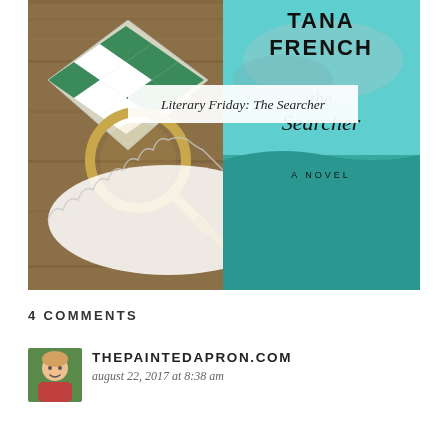[Figure (photo): Photo of Tana French's book 'The Searcher: A Novel' on a wooden table with a green checkered ceramic dish, gold magnifying glass, and white lace doily. A white overlay text box reads 'Literary Friday: The Searcher'.]
Literary Friday: The Searcher
4 COMMENTS
[Figure (photo): Small circular avatar photo of a blonde woman smiling, associated with thepaintedapron.com]
THEPAINTEDAPRON.COM
august 22, 2017 at 8:38 am